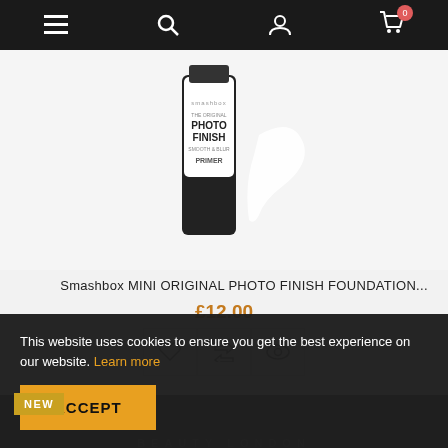[Figure (screenshot): Website navigation bar with hamburger menu, search icon, user icon, and cart icon with badge showing 0]
[Figure (photo): Smashbox MINI ORIGINAL PHOTO FINISH FOUNDATION PRIMER product bottle with white swipe of product beside it]
Smashbox MINI ORIGINAL PHOTO FINISH FOUNDATION...
£12.00
[Figure (screenshot): Three action buttons: heart (wishlist), shuffle, and eye (quick view)]
NEW
[Figure (screenshot): Revolution Beauty London product partially visible in dark background section]
This website uses cookies to ensure you get the best experience on our website. Learn more
ACCEPT